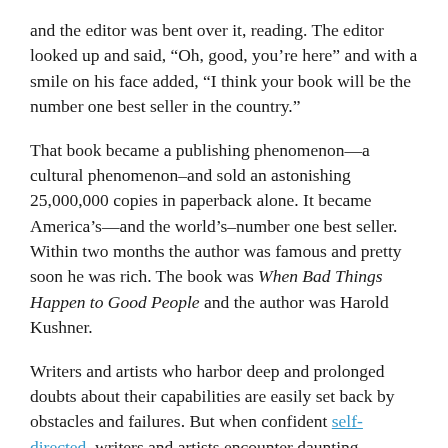and the editor was bent over it, reading. The editor looked up and said, "Oh, good, you're here" and with a smile on his face added, "I think your book will be the number one best seller in the country."
That book became a publishing phenomenon—a cultural phenomenon–and sold an astonishing 25,000,000 copies in paperback alone. It became America's—and the world's–number one best seller. Within two months the author was famous and pretty soon he was rich. The book was When Bad Things Happen to Good People and the author was Harold Kushner.
Writers and artists who harbor deep and prolonged doubts about their capabilities are easily set back by obstacles and failures. But when confident self-directed writers and artists encounter daunting obstacles, disappointments